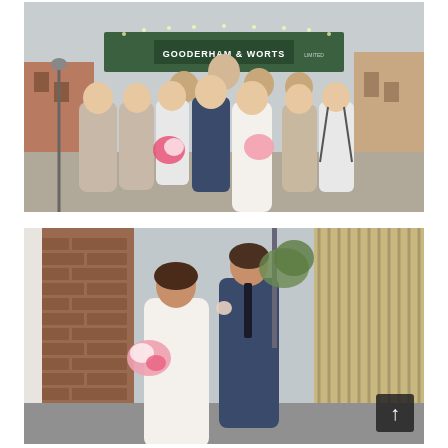[Figure (photo): Wedding party group photo under a green Gooderham & Worts Limited sign/bridge in an urban setting. Bridesmaids in beige/champagne dresses holding colorful floral bouquets, groomsmen in white shirts with suspenders and dark trousers, bride in white dress, groom in navy suit with dark tie. Brick buildings visible in background.]
[Figure (photo): Bride and groom walking together in an urban alley next to a brick wall, groom in navy suit with dark tie and boutonniere, bride in white strapless dress holding a pink and white floral bouquet. A scroll-to-top button visible in lower right corner.]